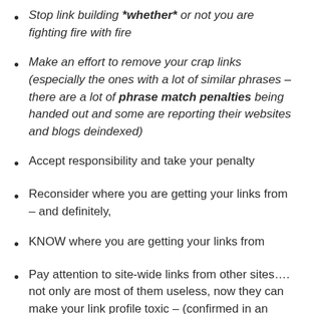Stop link building **whether** or not you are fighting fire with fire
Make an effort to remove your crap links (especially the ones with a lot of similar phrases – there are a lot of phrase match penalties being handed out and some are reporting their websites and blogs deindexed)
Accept responsibility and take your penalty
Reconsider where you are getting your links from – and definitely,
KNOW where you are getting your links from
Pay attention to site-wide links from other sites…. not only are most of them useless, now they can make your link profile toxic – (confirmed in an example included in Google's recommendations to webmasters)